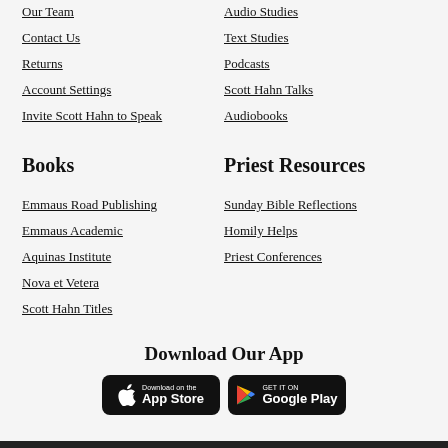Our Team
Audio Studies
Contact Us
Text Studies
Returns
Podcasts
Account Settings
Scott Hahn Talks
Invite Scott Hahn to Speak
Audiobooks
Books
Priest Resources
Emmaus Road Publishing
Sunday Bible Reflections
Emmaus Academic
Homily Helps
Aquinas Institute
Priest Conferences
Nova et Vetera
Scott Hahn Titles
Download Our App
[Figure (other): App Store and Google Play download buttons]